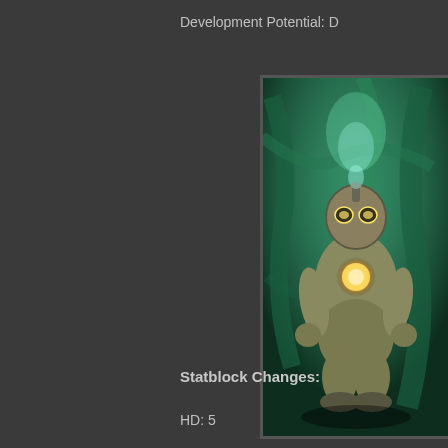Development Potential: D
[Figure (illustration): A creature in a diving suit or mechanical armor with a glowing orb on its helmet/chest, set against a dark teal/green underwater background with tentacle-like shapes. The figure appears bulky and menacing, walking forward.]
Statblock Changes:
HD: 5